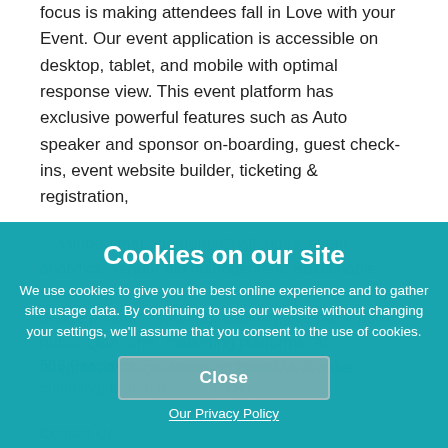focus is making attendees fall in Love with your Event. Our event application is accessible on desktop, tablet, and mobile with optimal response view. This event platform has exclusive powerful features such as Auto speaker and sponsor on-boarding, guest check-ins, event website builder, ticketing & registration, session(s) management, Challenges, event analytics, vendor bid management, Sustainable, mobile app, user rewards program, hotel bookings, badge printing, reporting, booking, live polls, polls, public Q&A, crm, marketing platforms, AI integrations, digital session board, and more.
566 Peachtree Parkway, Cumming GA 30041, cumming, United States , 30041
Contact Us
Cookies on our site
We use cookies to give you the best online experience and to gather site usage data. By continuing to use our website without changing your settings, we'll assume that you consent to the use of cookies.
Close
Our Privacy Policy